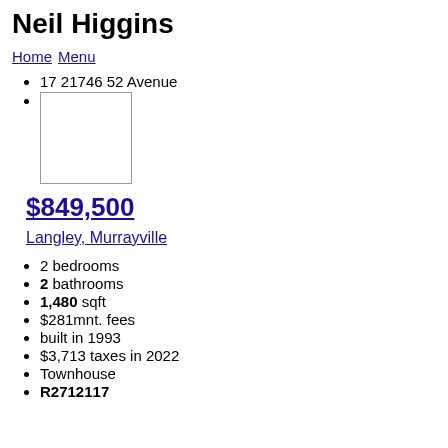Neil Higgins
Home  Menu
17 21746 52 Avenue
[Figure (photo): Property image placeholder (empty white box with border)]
$849,500
Langley, Murrayville
2 bedrooms
2 bathrooms
1,480 sqft
$281mnt. fees
built in 1993
$3,713 taxes in 2022
Townhouse
R2712117